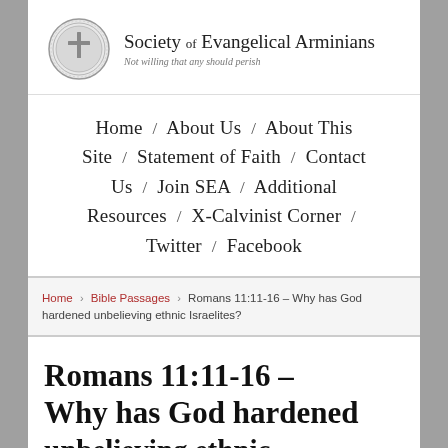[Figure (logo): Society of Evangelical Arminians circular seal/logo in grayscale with a cross in the center]
Society of Evangelical Arminians
Not willing that any should perish
Home / About Us / About This Site / Statement of Faith / Contact Us / Join SEA / Additional Resources / X-Calvinist Corner / Twitter / Facebook
Home > Bible Passages > Romans 11:11-16 – Why has God hardened unbelieving ethnic Israelites?
Romans 11:11-16 – Why has God hardened unbelieving ethnic Israelites?